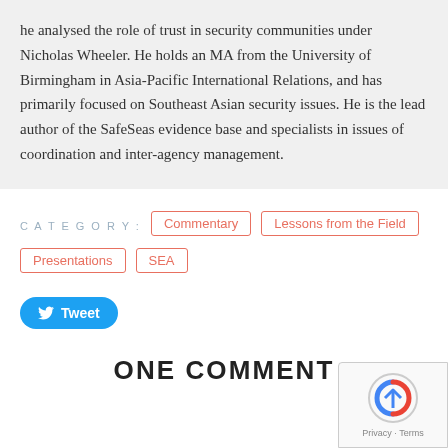he analysed the role of trust in security communities under Nicholas Wheeler. He holds an MA from the University of Birmingham in Asia-Pacific International Relations, and has primarily focused on Southeast Asian security issues. He is the lead author of the SafeSeas evidence base and specialists in issues of coordination and inter-agency management.
CATEGORY: Commentary | Lessons from the Field | Presentations | SEA
Tweet
ONE COMMENT